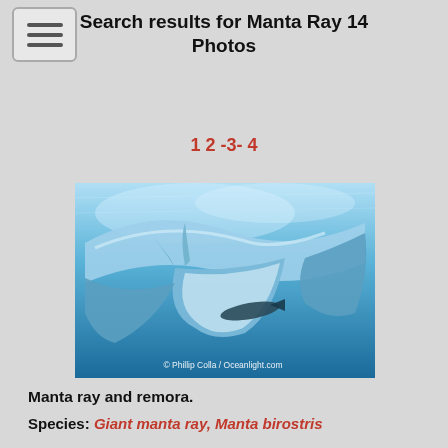Search results for Manta Ray 14 Photos
1 2 -3- 4
[Figure (photo): Underwater photograph of a manta ray and remora swimming together, viewed from below. Blue water background. © Phillip Colla / Oceanlight.com]
Manta ray and remora.
Species: Giant manta ray, Manta birostris